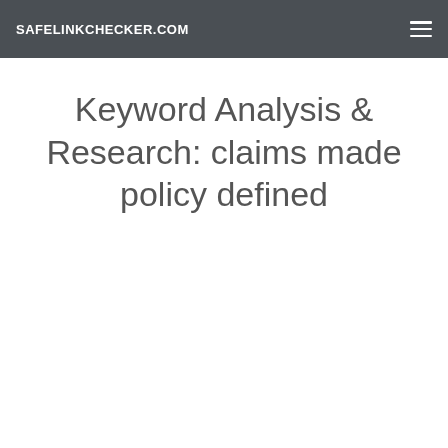SAFELINKCHECKER.COM
Keyword Analysis & Research: claims made policy defined